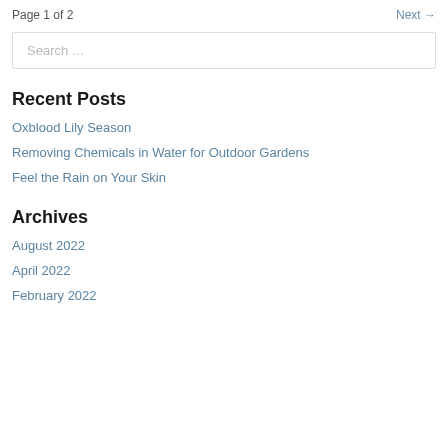Page 1 of 2
Next →
Search …
Recent Posts
Oxblood Lily Season
Removing Chemicals in Water for Outdoor Gardens
Feel the Rain on Your Skin
Archives
August 2022
April 2022
February 2022